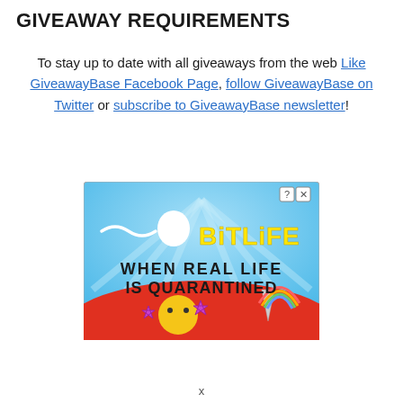GIVEAWAY REQUIREMENTS
To stay up to date with all giveaways from the web Like GiveawayBase Facebook Page, follow GiveawayBase on Twitter or subscribe to GiveawayBase newsletter!
[Figure (screenshot): BitLife advertisement banner: 'WHEN REAL LIFE IS QUARANTINED' with colorful game characters on a blue and red background. Shows a sperm emoji and the BitLife logo in yellow. Has a close button (x) and help button (?) in top right corner.]
x